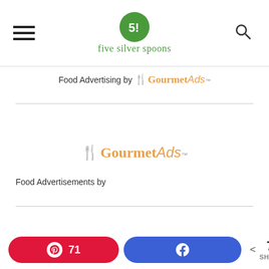five silver spoons
Food Advertising by GourmetAds™
[Figure (logo): GourmetAds logo with fork icon and orange italic text]
Food Advertisements by GourmetAds™
71 Pinterest shares, Facebook share button, 71 SHARES total